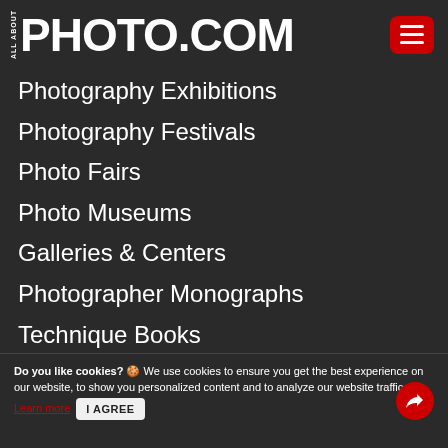ALL ABOUT PHOTO.COM
Photography Exhibitions
Photography Festivals
Photo Fairs
Photo Museums
Galleries & Centers
Photographer Monographs
Technique Books
Do you like cookies? 🍪 We use cookies to ensure you get the best experience on our website, to show you personalized content and to analyze our website traffic. Learn more  I AGREE